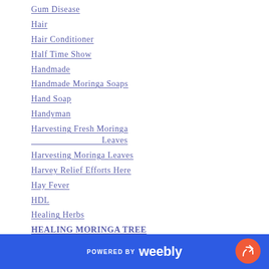Gum Disease
Hair
Hair Conditioner
Half Time Show
Handmade
Handmade Moringa Soaps
Hand Soap
Handyman
Harvesting Fresh Moringa Leaves
Harvesting Moringa Leaves
Harvey Relief Efforts Here
Hay Fever
HDL
Healing Herbs
HEALING MORINGA TREE
Healing Moringa Tree Story
POWERED BY weebly